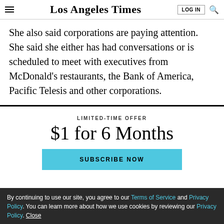Los Angeles Times
She also said corporations are paying attention. She said she either has had conversations or is scheduled to meet with executives from McDonald's restaurants, the Bank of America, Pacific Telesis and other corporations.
LIMITED-TIME OFFER
$1 for 6 Months
SUBSCRIBE NOW
By continuing to use our site, you agree to our Terms of Service and Privacy Policy. You can learn more about how we use cookies by reviewing our Privacy Policy. Close